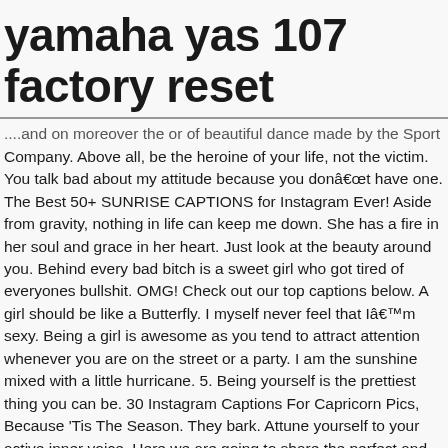yamaha yas 107 factory reset
...and on moreover the or of beautiful dance made by the Sport Company. Above all, be the heroine of your life, not the victim. You talk bad about my attitude because you donât have one. The Best 50+ SUNRISE CAPTIONS for Instagram Ever! Aside from gravity, nothing in life can keep me down. She has a fire in her soul and grace in her heart. Just look at the beauty around you. Behind every bad bitch is a sweet girl who got tired of everyones bullshit. OMG! Check out our top captions below. A girl should be like a Butterfly. I myself never feel that Iâm sexy. Being a girl is awesome as you tend to attract attention whenever you are on the street or a party. I am the sunshine mixed with a little hurricane. 5. Being yourself is the prettiest thing you can be. 30 Instagram Captions For Capricorn Pics, Because 'Tis The Season. They bark. Attune yourself to your active inner voice. Here we are going to share the perfect and best girls captions for Instagram post. She dreamed incredible dreams, followed her heart and created her own fantasy. But letâs start with forever. You just didnât know me enough. You are never fully dressed without a Smile 😀. She turned her canât into cans & her dreams into plans. 9 planets. Because when you stop...